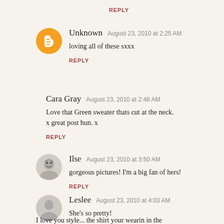REPLY
Unknown  August 23, 2010 at 2:25 AM
loving all of these sxxx
REPLY
Cara Gray  August 23, 2010 at 2:48 AM
Love that Green sweater thats cut at the neck. x great post hun. x
REPLY
Ilse  August 23, 2010 at 3:50 AM
gorgeous pictures! I'm a big fan of hers!
REPLY
Leslee  August 23, 2010 at 4:03 AM
She's so pretty!
I love you style... the shirt your wearin in the